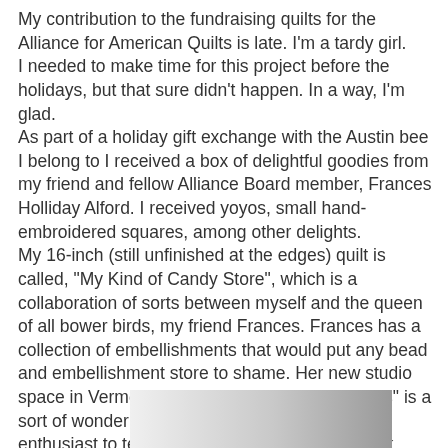My contribution to the fundraising quilts for the Alliance for American Quilts is late.  I'm a tardy girl.
I needed to make time for this project before the holidays, but that sure didn't happen.  In a way, I'm glad.
As part of a holiday gift exchange with the Austin bee I belong to I received a box of delightful goodies from my friend and fellow Alliance Board member, Frances Holliday Alford.  I received yoyos, small hand-embroidered squares, among other delights.
My 16-inch (still unfinished at the edges) quilt is called, "My Kind of Candy Store", which is a collaboration of sorts between myself and the queen of all bower birds, my friend Frances.  Frances has a collection of embellishments that would put any bead and embellishment store to shame.  Her new studio space in Vermont, aptly named "Embellishments" is a sort of wonderland that would bring any beading enthusiast to tears.  I was on hand to watch Mark Lipinski perform a sort of "self-baptism" into the bead religion at the altar of Frances' bead studio.  You think I'm making this up?  I have photos:
[Figure (photo): Partial photo visible at bottom of page, appears to be a grayscale image]